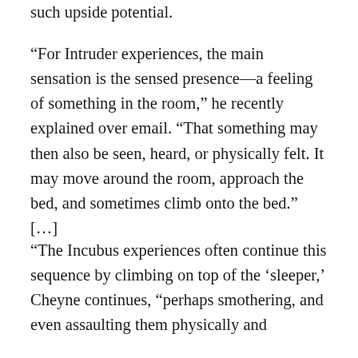such upside potential.
“For Intruder experiences, the main sensation is the sensed presence—a feeling of something in the room,” he recently explained over email. “That something may then also be seen, heard, or physically felt. It may move around the room, approach the bed, and sometimes climb onto the bed.” […]
“The Incubus experiences often continue this sequence by climbing on top of the ‘sleeper,’ Cheyne continues, “perhaps smothering, and even assaulting them physically and